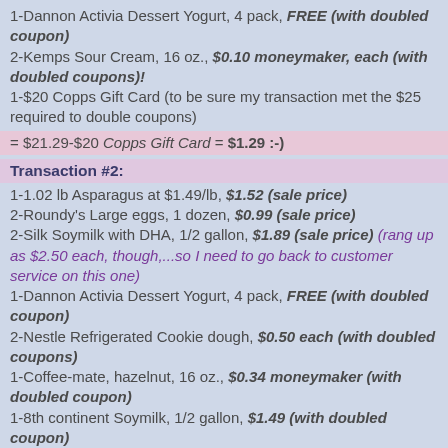1-Dannon Activia Dessert Yogurt, 4 pack, FREE (with doubled coupon)
2-Kemps Sour Cream, 16 oz., $0.10 moneymaker, each (with doubled coupons)!
1-$20 Copps Gift Card (to be sure my transaction met the $25 required to double coupons)
= $21.29-$20 Copps Gift Card = $1.29 :-)
Transaction #2:
1-1.02 lb Asparagus at $1.49/lb, $1.52 (sale price)
2-Roundy's Large eggs, 1 dozen, $0.99 (sale price)
2-Silk Soymilk with DHA, 1/2 gallon, $1.89 (sale price) (rang up as $2.50 each, though,...so I need to go back to customer service on this one)
1-Dannon Activia Dessert Yogurt, 4 pack, FREE (with doubled coupon)
2-Nestle Refrigerated Cookie dough, $0.50 each (with doubled coupons)
1-Coffee-mate, hazelnut, 16 oz., $0.34 moneymaker (with doubled coupon)
1-8th continent Soymilk, 1/2 gallon, $1.49 (with doubled coupon)